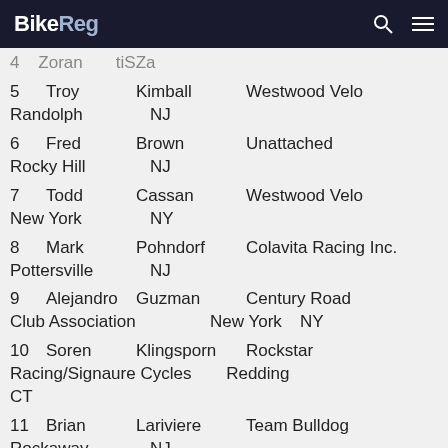BikeReg
4 Zoran tiSZa
5 Troy Kimball Westwood Velo Randolph NJ
6 Fred Brown Unattached Rocky Hill NJ
7 Todd Cassan Westwood Velo New York NY
8 Mark Pohndorf Colavita Racing Inc. Pottersville NJ
9 Alejandro Guzman Century Road Club Association New York NY
10 Soren Klingsporn Rockstar Racing/Signaure Cycles Redding CT
11 Brian Lariviere Team Bulldog Rockaway NJ
12 Zachary Bender GS Park Ridge Glen Rock NJ